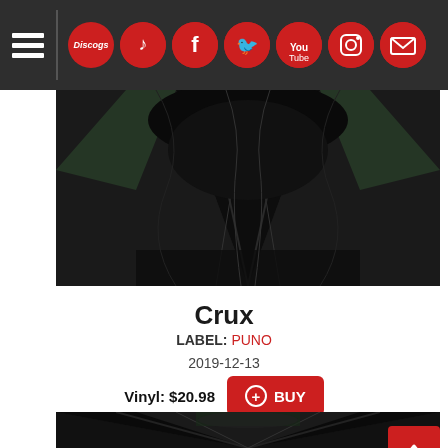Navigation bar with hamburger menu and social icons: Discogs, LastFM, Facebook, Twitter, YouTube, Instagram, Email
[Figure (photo): Black and white photo of an abandoned industrial or architectural space with overgrown vines, rubble, and debris. Symmetrical perspective looking down.]
Crux
LABEL: PUNO
2019-12-13
Vinyl: $20.98 + BUY
[Figure (photo): Black and white symmetrical photo of an abandoned building interior with large vines, steel beams and overgrown vegetation.]